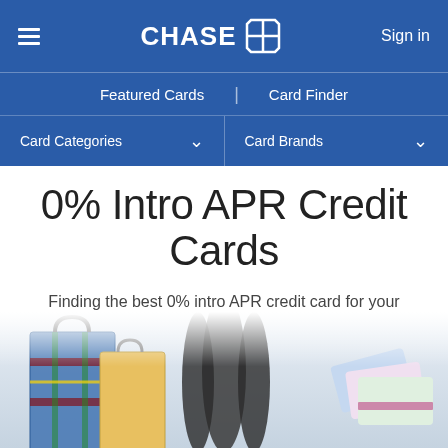CHASE | Sign in | Featured Cards | Card Finder | Card Categories | Card Brands
0% Intro APR Credit Cards
Finding the best 0% intro APR credit card for your financial needs will help you save money on interest. 0% intro APR cards help you avoid interest on purchases for an introductory period.
[Figure (photo): Shopping bags and credit cards fanned out at the bottom of the page]